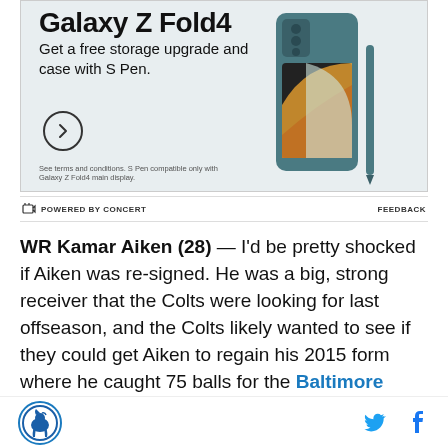[Figure (photo): Samsung Galaxy Z Fold4 advertisement showing the phone with teal case and S Pen. Text: Galaxy Z Fold4, Get a free storage upgrade and case with S Pen. Circle arrow button. Fine print: See terms and conditions. S Pen compatible only with Galaxy Z Fold4 main display.]
POWERED BY CONCERT    FEEDBACK
WR Kamar Aiken (28) — I'd be pretty shocked if Aiken was re-signed. He was a big, strong receiver that the Colts were looking for last offseason, and the Colts likely wanted to see if they could get Aiken to regain his 2015 form where he caught 75 balls for the Baltimore Ravens. Aiken caught just 15 passes and averaged
[Figure (logo): Indianapolis Colts logo — circular blue badge with horse]